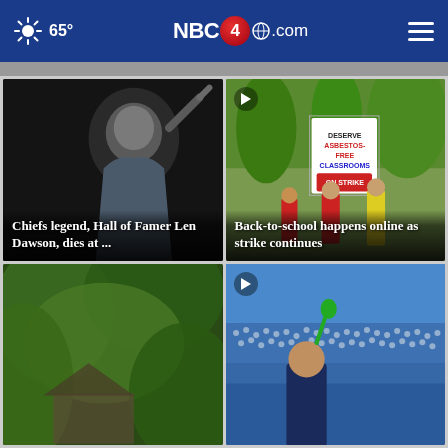65° NBC4i.com
[Figure (screenshot): News card: elderly man waving, dark background]
Chiefs legend, Hall of Famer Len Dawson, dies at ...
[Figure (screenshot): News card: teachers on strike with signs reading 'Deserve Asbestos-Free Classrooms', 'On Strike']
Back-to-school happens online as strike continues
[Figure (photo): News card: green foliage, blurred]
[Figure (screenshot): News card: crowd at stadium event, person in foreground with green item]